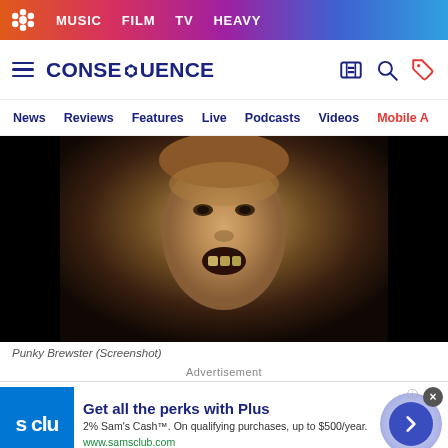MUSIC  FILM  TV  HEAVY
CONSEQUENCE
News  Reviews  Features  Live  Podcasts  Videos  Mobile App
[Figure (photo): Close-up screenshot of a child's face partially submerged in or pressed against a textured surface, mouth open showing teeth, from the TV show Punky Brewster.]
Punky Brewster (Screenshot)
Advertisement
Get all the perks with Plus
2% Sam's Cash™. On qualifying purchases, up to $500/year.
www.samsclub.com